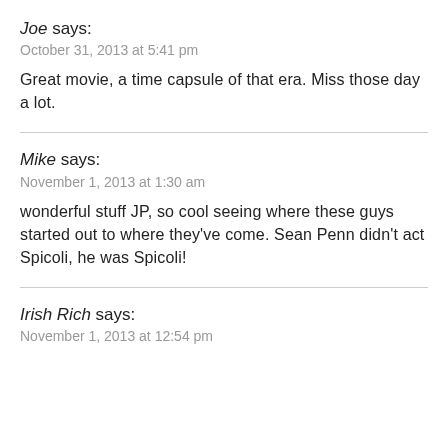Joe says:
October 31, 2013 at 5:41 pm
Great movie, a time capsule of that era. Miss those day a lot.
Mike says:
November 1, 2013 at 1:30 am
wonderful stuff JP, so cool seeing where these guys started out to where they've come. Sean Penn didn't act Spicoli, he was Spicoli!
Irish Rich says:
November 1, 2013 at 12:54 pm